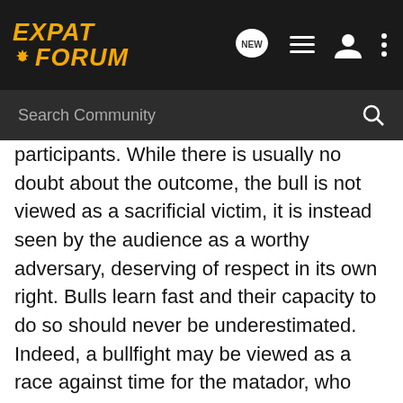EXPAT FORUM
Search Community
participants. While there is usually no doubt about the outcome, the bull is not viewed as a sacrificial victim, it is instead seen by the audience as a worthy adversary, deserving of respect in its own right. Bulls learn fast and their capacity to do so should never be underestimated. Indeed, a bullfight may be viewed as a race against time for the matador, who must display his bullfighting skills before the animal learns what is going on and begins to thrust its horns at something other than the cape. A hapless matador may find himself being pelted with seat cushions as he makes his exit. Bullfighting is criticized by many people, including but not limited to activists, referring to it as a cruel or barbaric blood sport, in which the bull suffers severe stress and a slow, torturous death. A number of animal rights or animal welfare activist groups undertake anti-bullfighting actions in Spain and other countries. In Spanish, opposition to bullfighting is referred to as “antitaurina”. However, some